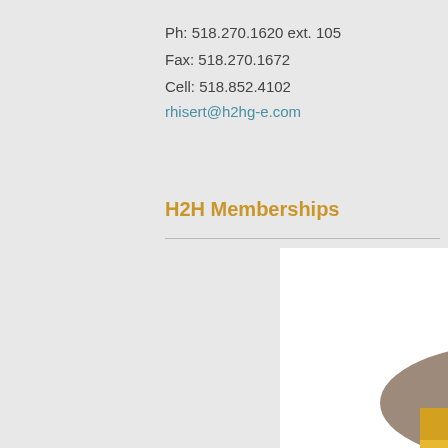Ph: 518.270.1620 ext. 105
Fax: 518.270.1672
Cell: 518.852.4102
rhisert@h2hg-e.com
H2H Memberships
[Figure (logo): Rensselaer County Regional logo with cityscape and hills illustration in brown/tan colors, with yellow/gold banner text]